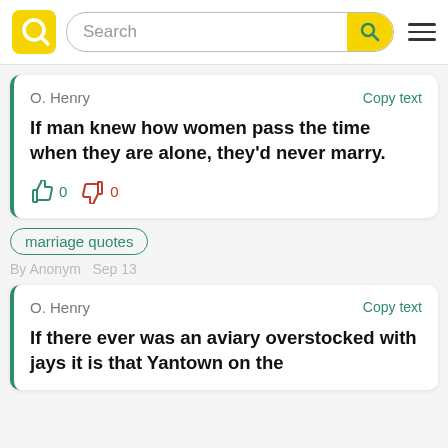Search
O. Henry
Copy text
If man knew how women pass the time when they are alone, they'd never marry.
0  0
marriage quotes
By Anonym  Sep 13
O. Henry
Copy text
If there ever was an aviary overstocked with jays it is that Yantown on the